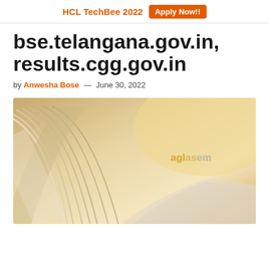HCL TechBee 2022  Apply Now!!
bse.telangana.gov.in, results.cgg.gov.in
by Anwesha Bose — June 30, 2022
[Figure (illustration): Telangana Board Results promotional image showing open books in background with cyan banner reading 'Telangana Board Results' and aglasem watermark]